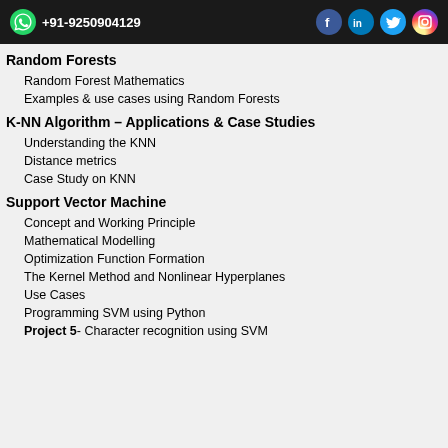+91-9250904129
Random Forests
Random Forest Mathematics
Examples & use cases using Random Forests
K-NN Algorithm – Applications & Case Studies
Understanding the KNN
Distance metrics
Case Study on KNN
Support Vector Machine
Concept and Working Principle
Mathematical Modelling
Optimization Function Formation
The Kernel Method and Nonlinear Hyperplanes
Use Cases
Programming SVM using Python
Project 5- Character recognition using SVM